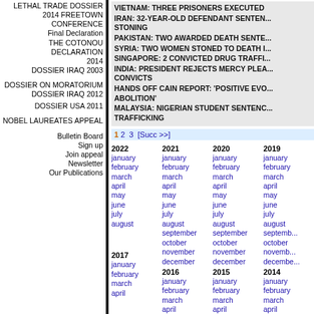LETHAL TRADE DOSSIER
2014 FREETOWN CONFERENCE Final Declaration
THE COTONOU DECLARATION 2014
DOSSIER IRAQ 2003
DOSSIER ON MORATORIUM
DOSSIER IRAQ 2012
DOSSIER USA 2011
NOBEL LAUREATES APPEAL
Bulletin Board
Sign up
Join appeal
Newsletter
Our Publications
VIETNAM: THREE PRISONERS EXECUTED
IRAN: 32-YEAR-OLD DEFENDANT SENTENCED TO STONING
PAKISTAN: TWO AWARDED DEATH SENTE...
SYRIA: TWO WOMEN STONED TO DEATH I...
SINGAPORE: 2 CONVICTED DRUG TRAFFI...
INDIA: PRESIDENT REJECTS MERCY PLEA... CONVICTS
HANDS OFF CAIN REPORT: 'POSITIVE EVO... ABOLITION'
MALAYSIA: NIGERIAN STUDENT SENTENC... TRAFFICKING
1 2 3 [Succ >>]
| 2022 | 2021 | 2020 | 2019 | 2017 | 2016 | 2015 | 2014 |
| --- | --- | --- | --- | --- | --- | --- | --- |
| january | january | january | january |
| february | february | february | february |
| march | march | march | march |
| april | april | april | april |
| may | may | may | may |
| june | june | june | june |
| july | july | july | july |
| august | august | august | august |
|  | september | september | september |
|  | october | october | october |
|  | november | november | november |
|  | december | december | december |
| 2017 | 2016 | 2015 | 2014 |
| january | january | january | january |
| february | february | february | february |
| march | march | march | march |
| april | april | april | april |